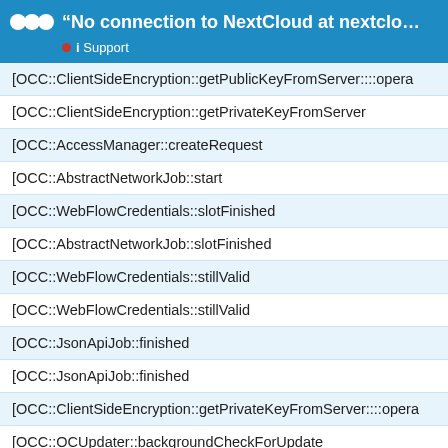"No connection to NextCloud at nextcloud.m... ● i Support
[OCC::ClientSideEncryption::getPublicKeyFromServer::::opera
[OCC::ClientSideEncryption::getPrivateKeyFromServer
[OCC::AccessManager::createRequest
[OCC::AbstractNetworkJob::start
[OCC::WebFlowCredentials::slotFinished
[OCC::AbstractNetworkJob::slotFinished
[OCC::WebFlowCredentials::stillValid
[OCC::WebFlowCredentials::stillValid
[OCC::JsonApiJob::finished
[OCC::JsonApiJob::finished
[OCC::ClientSideEncryption::getPrivateKeyFromServer::::opera
[OCC::OCUpdater::backgroundCheckForUpdate
[OCC::AccessManager::createRequest
[OCC::NSISUpdater::versionInfoArrived
[OCC::AccountState::checkConnectivity